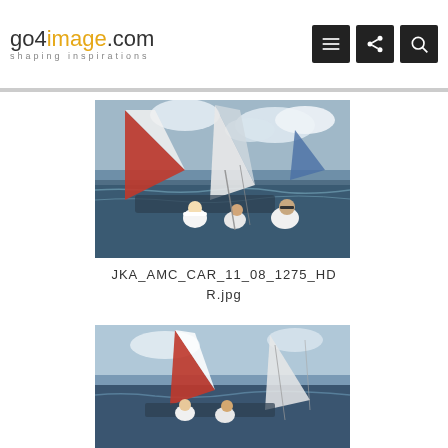go4image.com — shaping inspirations
[Figure (photo): Sailing race photo showing crew members on a racing yacht, sails visible including a red and white spinnaker with 'Softec' branding, rough sea conditions, dramatic sky]
JKA_AMC_CAR_11_08_1275_HDR.jpg
[Figure (photo): Sailing race photo showing multiple yachts racing at sea with red sails and white sails, crew visible on deck]